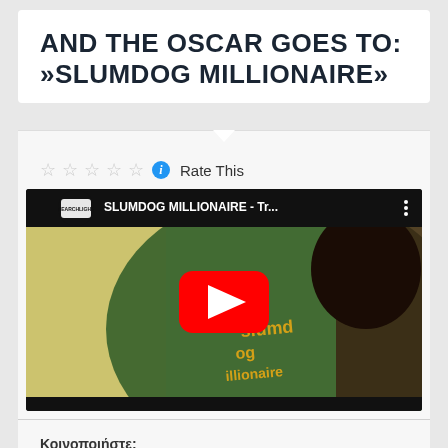AND THE OSCAR GOES TO: »SLUMDOG MILLIONAIRE»
☆☆☆☆☆ ℹ Rate This
[Figure (screenshot): YouTube video thumbnail for SLUMDOG MILLIONAIRE trailer with YouTube play button overlay]
Κοινοποιήστε: